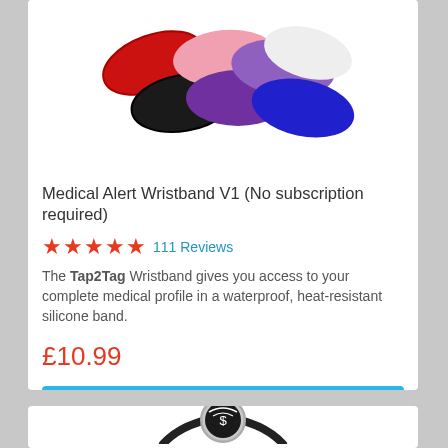[Figure (photo): Multiple silicone wristbands in colors red, black, pink, purple, light purple, and navy blue, fanned out against a white background]
Medical Alert Wristband V1 (No subscription required)
★★★★★ 111 Reviews
The Tap2Tag Wristband gives you access to your complete medical profile in a waterproof, heat-resistant silicone band.
£10.99
Add to Cart
[Figure (photo): Circular metallic medical alert charm on a black cord bracelet, with a medical symbol and Tap2Tag branding]